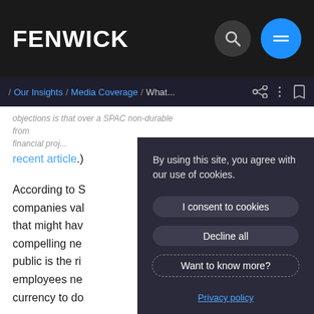FENWICK
/ Our Insights / Media Coverage / What...
objections is that over a 5PAC non-durable financial project
recent article.)
According to S companies va that might hav compelling ne public is the ri employees ne currency to do
The full article
By using this site, you agree with our use of cookies.
I consent to cookies
Decline all
Want to know more?
Privacy policy